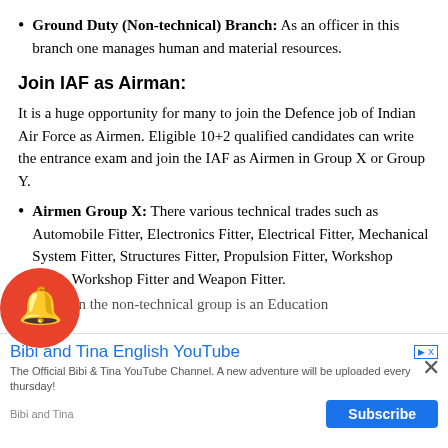Ground Duty (Non-technical) Branch: As an officer in this branch one manages human and material resources.
Join IAF as Airman:
It is a huge opportunity for many to join the Defence job of Indian Air Force as Airmen. Eligible 10+2 qualified candidates can write the entrance exam and join the IAF as Airmen in Group X or Group Y.
Airmen Group X: There various technical trades such as Automobile Fitter, Electronics Fitter, Electrical Fitter, Mechanical System Fitter, Structures Fitter, Propulsion Fitter, Workshop Fitter, Workshop Fitter and Weapon Fitter.
Whereas in the non-technical group is an Education...
[Figure (other): Red notification bell overlay icon on bottom-left area of content]
[Figure (screenshot): Advertisement banner for 'Bibi and Tina English YouTube' channel with Subscribe button]